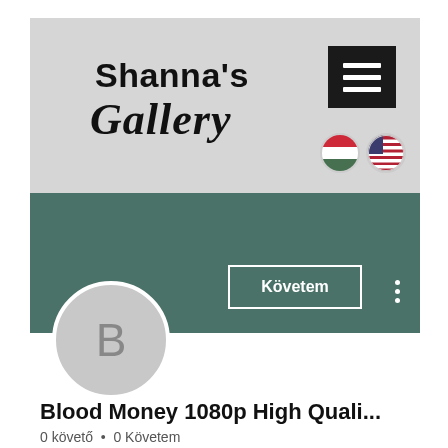[Figure (screenshot): Shanna's Gallery website header with logo text, hamburger menu icon, Hungarian and US flag icons, teal profile banner, follow button, and user profile initial B]
Blood Money 1080p High Quali...
0 követő • 0 Követem